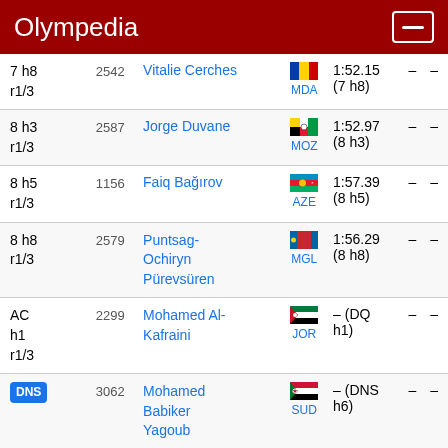Olympedia
| Rank | Bib | Name | Country | Time |  |  |
| --- | --- | --- | --- | --- | --- | --- |
| 7 h8 r1/3 | 2542 | Vitalie Cerches | MDA | 1:52.15 (7 h8) | – | – |
| 8 h3 r1/3 | 2587 | Jorge Duvane | MOZ | 1:52.97 (8 h3) | – | – |
| 8 h5 r1/3 | 1156 | Faiq Bağırov | AZE | 1:57.39 (8 h5) | – | – |
| 8 h8 r1/3 | 2579 | Puntsag-Ochiryn Pürevsüren | MGL | 1:56.29 (8 h8) | – | – |
| AC h1 r1/3 | 2299 | Mohamed Al-Kafraini | JOR | – (DQ h1) | – | – |
| DNS | 3062 | Mohamed Babiker Yagoub | SUD | – (DNS h6) | – | – |